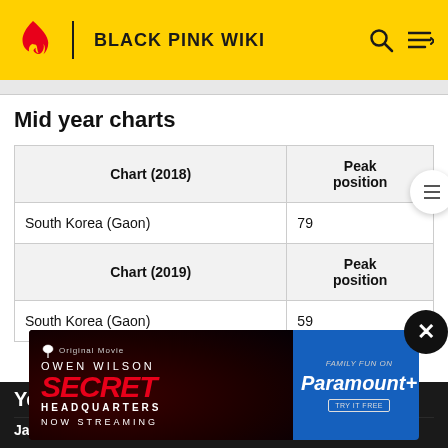BLACK PINK WIKI
Mid year charts
| Chart (2018) | Peak position |
| --- | --- |
| South Korea (Gaon) | 79 |
| Chart (2019) | Peak position |
| --- | --- |
| South Korea (Gaon) | 59 |
[Figure (screenshot): Advertisement for Paramount+ movie 'Secret Headquarters' starring Owen Wilson, now streaming]
Year-e...
| Chart | Peak position |
| --- | --- |
| Japan (Japan Hot 100) | 57 |